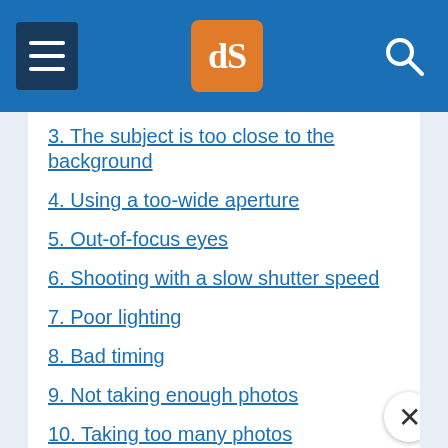dPS navigation header
3. The subject is too close to the background
4. Using a too-wide aperture
5. Out-of-focus eyes
6. Shooting with a slow shutter speed
7. Poor lighting
8. Bad timing
9. Not taking enough photos
10. Taking too many photos
11. Failing to connect with the subject
12. Not giving the subject enough direction
13. Feeling like you are imposing